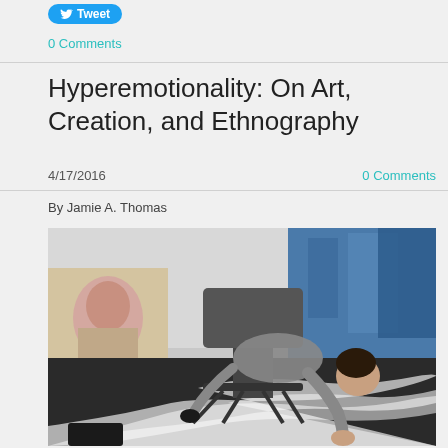Tweet
0 Comments
Hyperemotionality: On Art, Creation, and Ethnography
4/17/2016
0 Comments
By Jamie A. Thomas
[Figure (photo): An artist leaning over and working on a large black and white painting on the floor of an art studio. An office chair is visible, and a painted portrait hangs on the wall in the background with blue abstract paintings.]